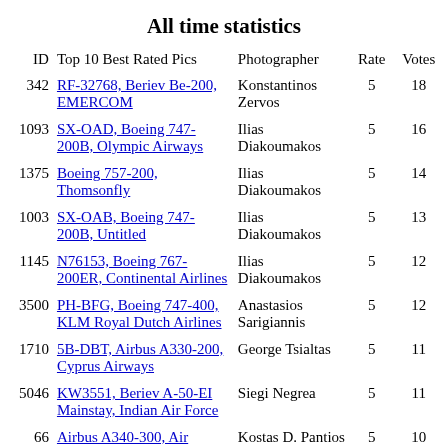All time statistics
| ID | Top 10 Best Rated Pics | Photographer | Rate | Votes |
| --- | --- | --- | --- | --- |
| 342 | RF-32768, Beriev Be-200, EMERCOM | Konstantinos Zervos | 5 | 18 |
| 1093 | SX-OAD, Boeing 747-200B, Olympic Airways | Ilias Diakoumakos | 5 | 16 |
| 1375 | Boeing 757-200, Thomsonfly | Ilias Diakoumakos | 5 | 14 |
| 1003 | SX-OAB, Boeing 747-200B, Untitled | Ilias Diakoumakos | 5 | 13 |
| 1145 | N76153, Boeing 767-200ER, Continental Airlines | Ilias Diakoumakos | 5 | 12 |
| 3500 | PH-BFG, Boeing 747-400, KLM Royal Dutch Airlines | Anastasios Sarigiannis | 5 | 12 |
| 1710 | 5B-DBT, Airbus A330-200, Cyprus Airways | George Tsialtas | 5 | 11 |
| 5046 | KW3551, Beriev A-50-EI Mainstay, Indian Air Force | Siegi Negrea | 5 | 11 |
| 66 | Airbus A340-300, Air France | Kostas D. Pantios | 5 | 10 |
|  | British Aerospace (Hawker… |  |  |  |